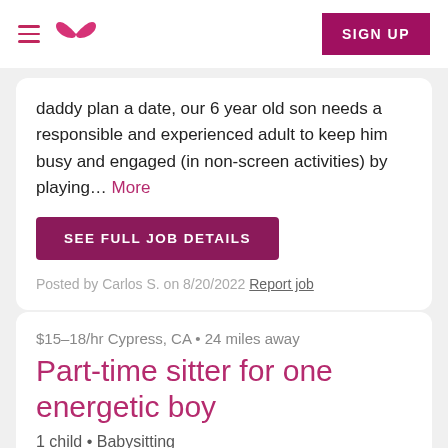Navigation header with hamburger menu, logo, and SIGN UP button
daddy plan a date, our 6 year old son needs a responsible and experienced adult to keep him busy and engaged (in non-screen activities) by playing… More
SEE FULL JOB DETAILS
Posted by Carlos S. on 8/20/2022 Report job
$15–18/hr Cypress, CA • 24 miles away
Part-time sitter for one energetic boy
1 child • Babysitting